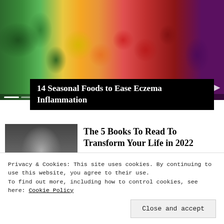[Figure (photo): Colorful arrangement of fresh fruits and vegetables: green peppers, celery, kiwi, lemons, oranges, tomatoes, eggplant, grapefruit — rainbow of produce from green to red to purple]
14 Seasonal Foods to Ease Eczema Inflammation
[Figure (photo): Black and white portrait of a young man with long hair and round glasses]
The 5 Books To Read To Transform Your Life in 2022
Blinkist
Privacy & Cookies: This site uses cookies. By continuing to use this website, you agree to their use.
To find out more, including how to control cookies, see here: Cookie Policy
Close and accept